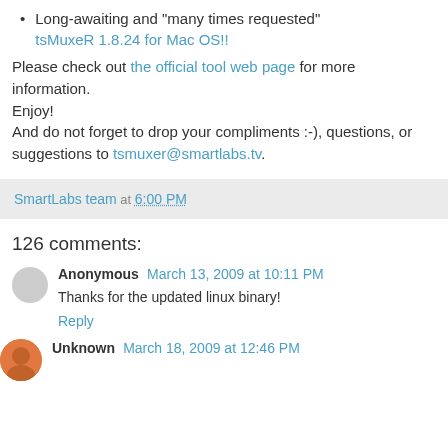Long-awaiting and "many times requested" tsMuxeR 1.8.24 for Mac OS!!
Please check out the official tool web page for more information.
Enjoy!
And do not forget to drop your compliments :-), questions, or suggestions to tsmuxer@smartlabs.tv.
SmartLabs team at 6:00 PM
126 comments:
Anonymous March 13, 2009 at 10:11 PM
Thanks for the updated linux binary!
Reply
Unknown March 18, 2009 at 12:46 PM